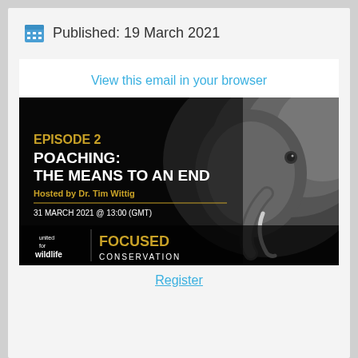Published: 19 March 2021
View this email in your browser
[Figure (photo): Podcast promotional image on black background with close-up elephant photo. Text reads: EPISODE 2 / POACHING: THE MEANS TO AN END / Hosted by Dr. Tim Wittig / 31 MARCH 2021 @ 13:00 (GMT) / united for wildlife / FOCUSED CONSERVATION]
Register